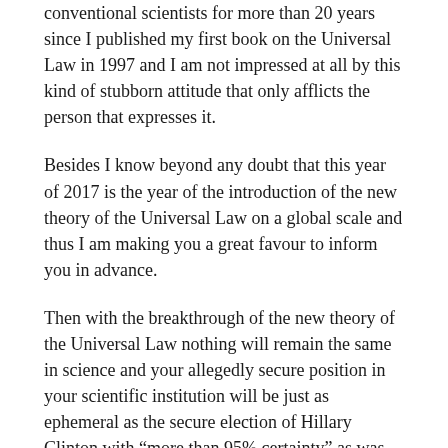conventional scientists for more than 20 years since I published my first book on the Universal Law in 1997 and I am not impressed at all by this kind of stubborn attitude that only afflicts the person that expresses it.
Besides I know beyond any doubt that this year of 2017 is the year of the introduction of the new theory of the Universal Law on a global scale and thus I am making you a great favour to inform you in advance.
Then with the breakthrough of the new theory of the Universal Law nothing will remain the same in science and your allegedly secure position in your scientific institution will be just as ephemeral as the secure election of Hillary Clinton with “more than 95% certainty” as was claimed by the fake MSM. Then believe me, there is no difference between the fake MSM, which with their obvious lies are currently in a free fall, and present-day fake physics and science which